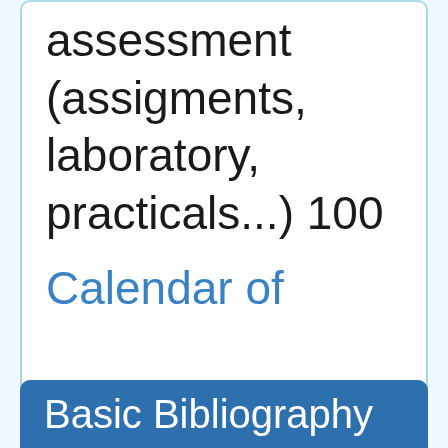assessment (assigments, laboratory, practicals...) 100
Calendar of Continuous assessment
Basic Bibliography